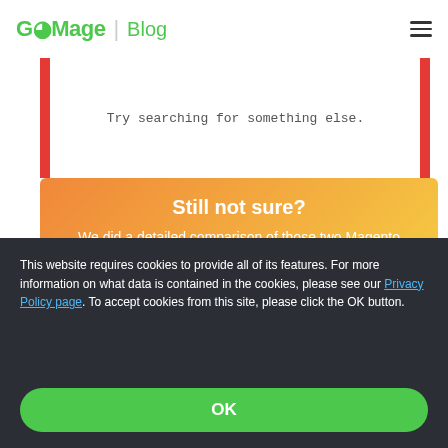GoMage | Blog
[Figure (screenshot): Screenshot showing a search results page with red sidebar bars and text 'Try searching for something else.']
Still not sure? We did a detailed comparison of those two Magento search types, alongside with Algolia
This website requires cookies to provide all of its features. For more information on what data is contained in the cookies, please see our Privacy Policy page. To accept cookies from this site, please click the OK button.
OK